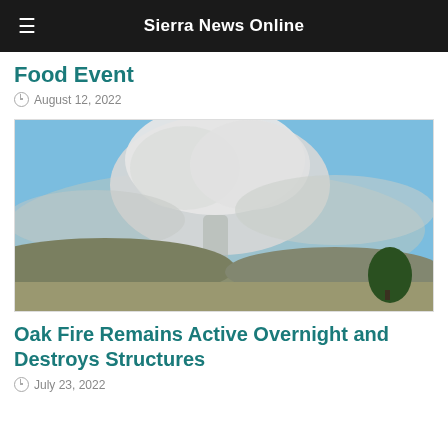Sierra News Online
Food Event
August 12, 2022
[Figure (photo): Large wildfire smoke plume rising into blue sky over hills and dry landscape with a tree visible in the lower right corner]
Oak Fire Remains Active Overnight and Destroys Structures
July 23, 2022